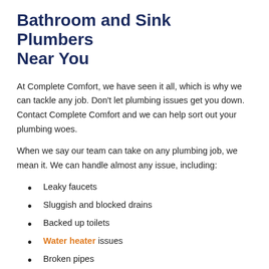Bathroom and Sink Plumbers Near You
At Complete Comfort, we have seen it all, which is why we can tackle any job. Don't let plumbing issues get you down. Contact Complete Comfort and we can help sort out your plumbing woes.
When we say our team can take on any plumbing job, we mean it. We can handle almost any issue, including:
Leaky faucets
Sluggish and blocked drains
Backed up toilets
Water heater issues
Broken pipes
Bad water pressure
Sewer problems